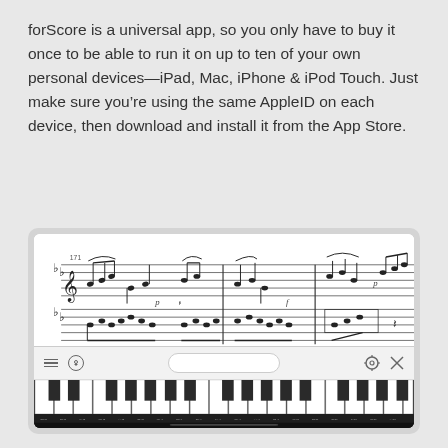forScore is a universal app, so you only have to buy it once to be able to run it on up to ten of your own personal devices—iPad, Mac, iPhone & iPod Touch. Just make sure you're using the same AppleID on each device, then download and install it from the App Store.
[Figure (screenshot): Screenshot of the forScore app showing sheet music notation in the top portion and a piano keyboard interface in the bottom portion, with a toolbar in between containing menu icons and a pill-shaped element.]